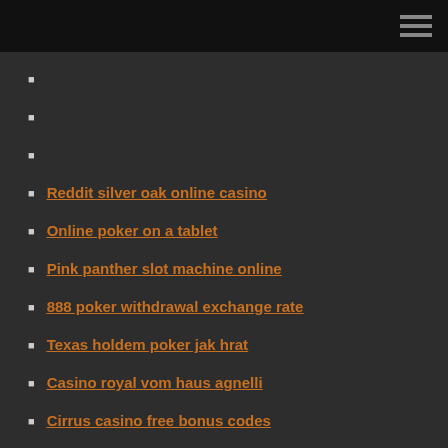Reddit silver oak online casino
Online poker on a tablet
Pink panther slot machine online
888 poker withdrawal exchange rate
Texas holdem poker jak hrat
Casino royal vom haus agnelli
Cirrus casino free bonus codes
Casino steel and the bandits
Texas holdem poker chip calculator
Freespins vegas online casino
Ameristar casino st. charles poker